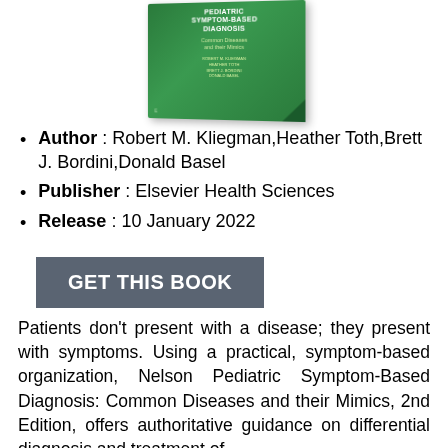[Figure (illustration): Book cover of Nelson Pediatric Symptom-Based Diagnosis: Common Diseases and their Mimics, 2nd Edition. Green cover with authors Robert M. Kliegman, Heather Toth, Brett J. Bordini, Donald Basel.]
Author : Robert M. Kliegman,Heather Toth,Brett J. Bordini,Donald Basel
Publisher : Elsevier Health Sciences
Release : 10 January 2022
GET THIS BOOK
Patients don’t present with a disease; they present with symptoms. Using a practical, symptom-based organization, Nelson Pediatric Symptom-Based Diagnosis: Common Diseases and their Mimics, 2nd Edition, offers authoritative guidance on differential diagnosis and treatment of